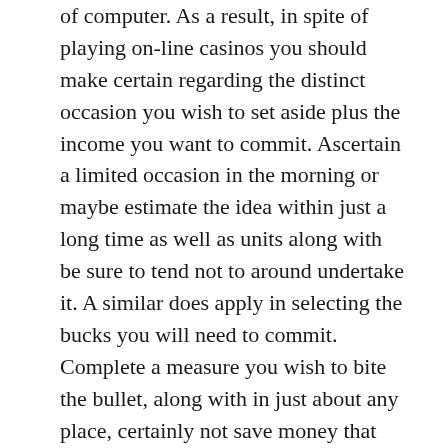of computer. As a result, in spite of playing on-line casinos you should make certain regarding the distinct occasion you wish to set aside plus the income you want to commit. Ascertain a limited occasion in the morning or maybe estimate the idea within just a long time as well as units along with be sure to tend not to around undertake it. A similar does apply in selecting the bucks you will need to commit. Complete a measure you wish to bite the bullet, along with in just about any place, certainly not save money that one could spend on. On-line casinos are generally rarely a whole new sector, nevertheless one particular attribute of such on-line casinos have been underneath hefty controversy in the past. This specific attribute can be that will in the on-line internet casino signup bonuses. Signup bonuses are shown by way of virtually any games centre on-line, nevertheless each features unique regulations, polices, along with conditions. Ahead of